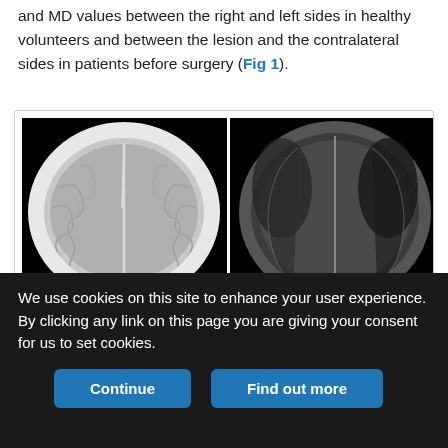and MD values between the right and left sides in healthy volunteers and between the lesion and the contralateral sides in patients before surgery (Fig 1).
[Figure (photo): Four-panel medical brain imaging figure. Panel A: CT scan showing axial brain slice with white matter folds visible, black background, labeled 'A'. Panel B: MRI scan (T1-weighted) showing axial brain slice with dark subdural regions and midline structures, labeled 'B'. Bottom-left and bottom-right panels show partial colorized functional/diffusion imaging scans with cyan, green, yellow, and red color mapping.]
We use cookies on this site to enhance your user experience. By clicking any link on this page you are giving your consent for us to set cookies.